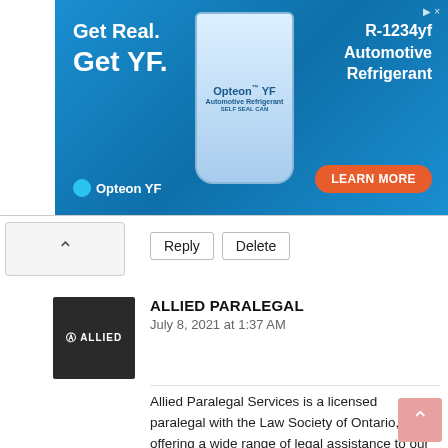[Figure (photo): Advertisement banner for Opteon YF R-1234yf Automotive Refrigerant with blue gradient background, product bottle, and Learn More button]
Reply  Delete
[Figure (photo): Avatar image for Allied Paralegal with dark background and ALLIED text]
ALLIED PARALEGAL
July 8, 2021 at 1:37 AM
Allied Paralegal Services is a licensed paralegal with the Law Society of Ontario, offering a wide range of legal assistance to our clients. Backed by years of experience and exhaustive knowledge, we provide the favorable results you come looking for.
lawyers near me
paralegal advisors
court near me
court near me
Expert Paralegal Service
lawyer licensing process
Human Rights Violation
find legal advisors